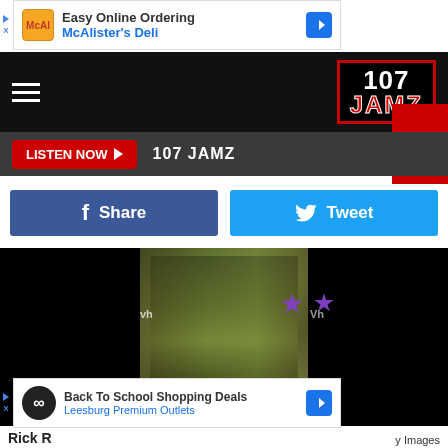[Figure (screenshot): Top advertisement banner: Easy Online Ordering - McAlister's Deli with blue arrow icon]
[Figure (logo): 107 JAMZ radio station logo - black background with red border, white 107 text and red JAMZ text]
LISTEN NOW ▶  107 JAMZ
[Figure (infographic): Facebook Share button (navy blue) and Twitter Tweet button (cyan blue)]
[Figure (photo): Person wearing a green/olive leather jacket at what appears to be a VH1 event backdrop]
[Figure (screenshot): Bottom advertisement banner: Back To School Shopping Deals - Leesburg Premium Outlets with blue arrow icon]
Rick R
y Images